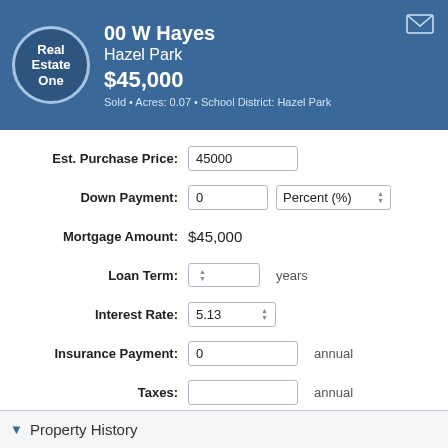[Figure (logo): Real Estate One circular logo with white text on blue background]
00 W Hayes
Hazel Park
$45,000
Sold • Acres: 0.07 • School District: Hazel Park
| Field | Value | Unit |
| --- | --- | --- |
| Est. Purchase Price: | 45000 |  |
| Down Payment: | 0 | Percent (%) |
| Mortgage Amount: | $45,000 |  |
| Loan Term: |  | years |
| Interest Rate: | 5.13 |  |
| Insurance Payment: | 0 | annual |
| Taxes: |  | annual |
CALCULATE
Property History